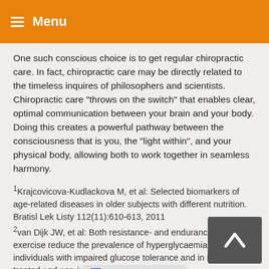☰ Menu
One such conscious choice is to get regular chiropractic care. In fact, chiropractic care may be directly related to the timeless inquires of philosophers and scientists. Chiropractic care "throws on the switch" that enables clear, optimal communication between your brain and your body. Doing this creates a powerful pathway between the consciousness that is you, the "light within", and your physical body, allowing both to work together in seamless harmony.
1Krajcovicova-Kudlackova M, et al: Selected biomarkers of age-related diseases in older subjects with different nutrition. Bratisl Lek Listy 112(11):610-613, 2011
2van Dijk JW, et al: Both resistance- and endurance-type exercise reduce the prevalence of hyperglycaemia in individuals with impaired glucose tolerance and in insulin-treated and non-insulin- patients.